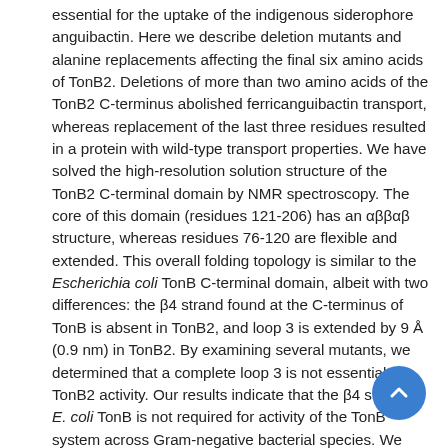essential for the uptake of the indigenous siderophore anguibactin. Here we describe deletion mutants and alanine replacements affecting the final six amino acids of TonB2. Deletions of more than two amino acids of the TonB2 C-terminus abolished ferricanguibactin transport, whereas replacement of the last three residues resulted in a protein with wild-type transport properties. We have solved the high-resolution solution structure of the TonB2 C-terminal domain by NMR spectroscopy. The core of this domain (residues 121-206) has an αββαβ structure, whereas residues 76-120 are flexible and extended. This overall folding topology is similar to the Escherichia coli TonB C-terminal domain, albeit with two differences: the β4 strand found at the C-terminus of TonB is absent in TonB2, and loop 3 is extended by 9 Å (0.9 nm) in TonB2. By examining several mutants, we determined that a complete loop 3 is not essential for TonB2 activity. Our results indicate that the β4 strand of E. coli TonB is not required for activity of the TonB system across Gram-negative bacterial species. We have also determined, through NMR chemical shift perturbation experiments, that the E. coli TonB binds in vitro to the TonB box from the TonB2-dependent outer membrane transporter FatA; moreover, it can substitute in vivo for TonB2 during ferricanguibactin transport in Vibrio will